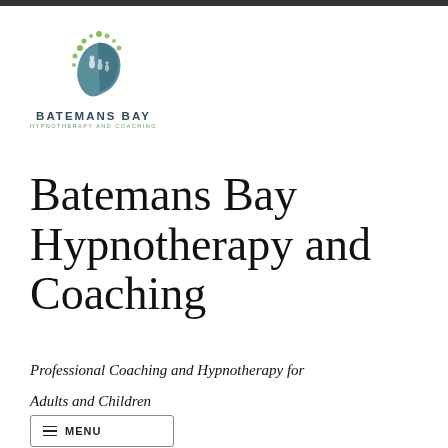[Figure (logo): Batemans Bay Hypnotherapy and Coaching logo: a stylized human head profile in teal/blue with green leaf/dot motifs forming the brain area, and small human figures inside. Below: 'BATEMANS BAY' in bold dark blue uppercase, 'HYPNOTHERAPY AND COACHING' in small green uppercase letters.]
Batemans Bay Hypnotherapy and Coaching
Professional Coaching and Hypnotherapy for Adults and Children